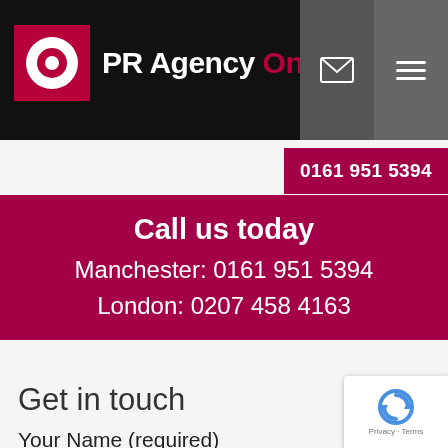[Figure (logo): PR Agency One logo: pink square with white circle and pink dot, followed by 'PR Agency' in white bold and 'One' in pink bold]
0161 951 5394
Call us today
Manchester: 0161 951 5394
London: 0207 458 4163
Get in touch
Your Name (required)